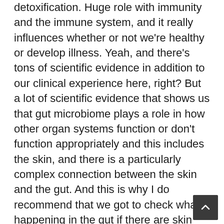detoxification. Huge role with immunity and the immune system, and it really influences whether or not we're healthy or develop illness. Yeah, and there's tons of scientific evidence in addition to our clinical experience here, right? But a lot of scientific evidence that shows us that gut microbiome plays a role in how other organ systems function or don't function appropriately and this includes the skin, and there is a particularly complex connection between the skin and the gut. And this is why I do recommend that we got to check what's happening in the gut if there are skin rashes in your little one.
Jennifer Brand: There are some interesting studies too about what's happening in the gut